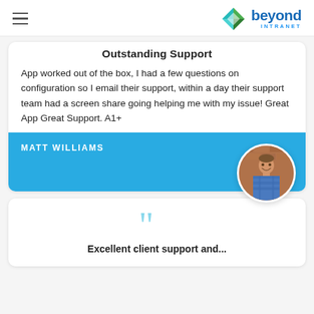Beyond Intranet
Outstanding Support
App worked out of the box, I had a few questions on configuration so I email their support, within a day their support team had a screen share going helping me with my issue! Great App Great Support. A1+
MATT WILLIAMS
[Figure (photo): Circular profile photo of Matt Williams, a smiling man in a plaid shirt against a brick wall background]
[Figure (illustration): Large decorative opening quotation marks in light blue]
Excellent client support and...